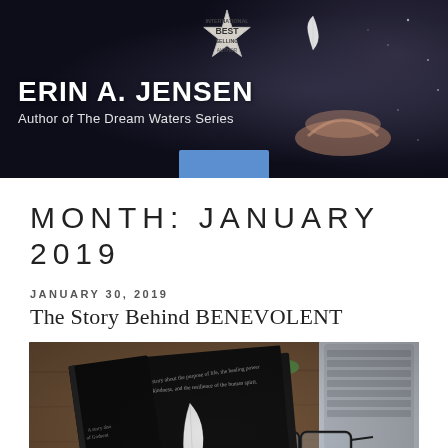[Figure (photo): Website header banner with dark background showing author name ERIN A. JENSEN, subtitle 'Author of The Dream Waters Series', with a feather, hands, and best-seller badge imagery]
MONTH: JANUARY 2019
JANUARY 30, 2019
The Story Behind BENEVOLENT
[Figure (photo): Photo of the book 'Benevolent' with a feather on the cover, placed on a wooden table alongside glasses, a laptop keyboard, a small plant, and a coffee cup]